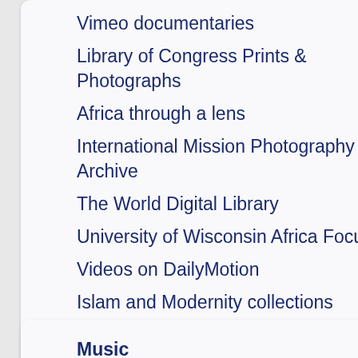Vimeo documentaries
Library of Congress Prints & Photographs
Africa through a lens
International Mission Photography Archive
The World Digital Library
University of Wisconsin Africa Focus
Videos on DailyMotion
Islam and Modernity collections
West Africa galleries
The African Media Program
Africa in the Photobook
Slavery Images
Music